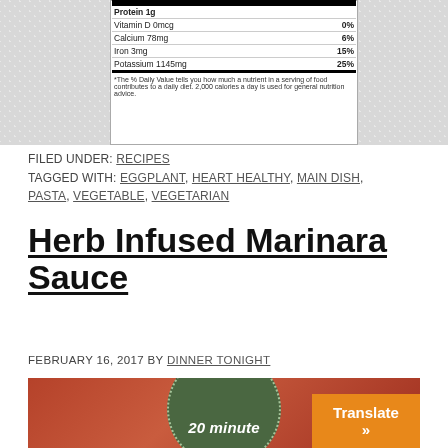| Nutrient | Amount | %DV |
| --- | --- | --- |
| Protein 1g |  |  |
| Vitamin D 0mcg |  | 0% |
| Calcium 78mg |  | 6% |
| Iron 3mg |  | 15% |
| Potassium 1145mg |  | 25% |
| *The % Daily Value tells you how much a nutrient in a serving of food contributes to a daily diet. 2,000 calories a day is used for general nutrition advice. |  |  |
FILED UNDER: RECIPES
TAGGED WITH: EGGPLANT, HEART HEALTHY, MAIN DISH, PASTA, VEGETABLE, VEGETARIAN
Herb Infused Marinara Sauce
FEBRUARY 16, 2017 BY DINNER TONIGHT
[Figure (photo): Photo of marinara sauce with a green circular badge overlay showing '20 minute' text]